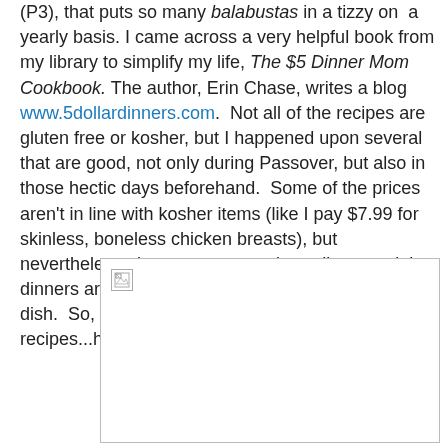(P3), that puts so many balabustas in a tizzy on a yearly basis. I came across a very helpful book from my library to simplify my life, The $5 Dinner Mom Cookbook. The author, Erin Chase, writes a blog www.5dollardinners.com. Not all of the recipes are gluten free or kosher, but I happened upon several that are good, not only during Passover, but also in those hectic days beforehand. Some of the prices aren't in line with kosher items (like I pay $7.99 for skinless, boneless chicken breasts), but nevertheless, they are common ingredients and the dinners are just that--complete dinners--not just one dish. So, as I'm very busy, less writing and more recipes...here you go.
[Figure (photo): Broken/missing image placeholder with border]